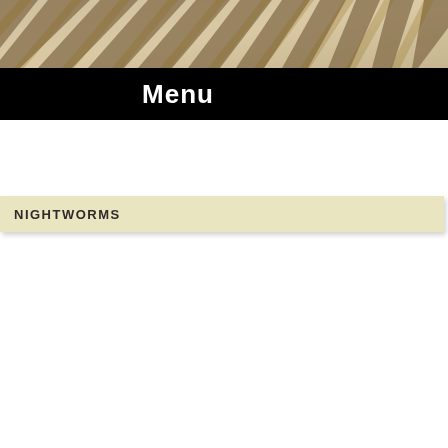[Figure (photo): Zebra stripe pattern texture in brown and beige tones, used as decorative header image]
Menu
NIGHTWORMS